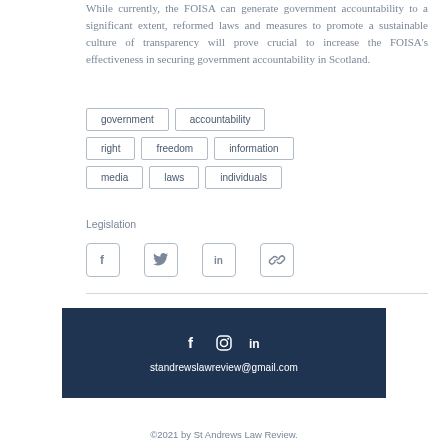While currently, the FOISA can generate government accountability to a significant extent, reformed laws and measures to promote a sustainable culture of transparency will prove crucial to increase the FOISA's effectiveness in securing government accountability in Scotland.
government
accountability
right
freedom
information
media
laws
individuals
Legislation
[Figure (infographic): Social share buttons: Facebook, Twitter, LinkedIn, Link icons]
standrewslawreview@gmail.com | Facebook, Instagram, LinkedIn icons | ©2021 by St Andrews Law Review.